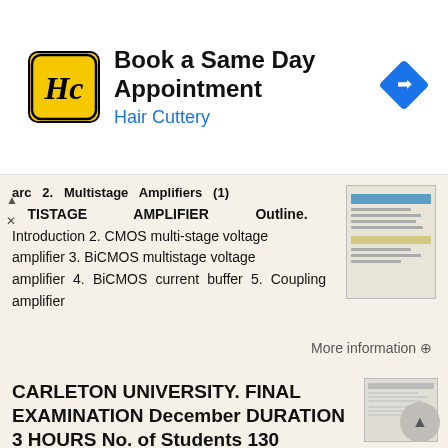[Figure (other): Hair Cuttery advertisement banner with logo, title 'Book a Same Day Appointment', subtitle 'Hair Cuttery', and navigation arrow icon]
arc 2. Multistage Amplifiers (1) TISTAGE AMPLIFIER Outline. Introduction 2. CMOS multi-stage voltage amplifier 3. BiCMOS multistage voltage amplifier 4. BiCMOS current buffer 5. Coupling amplifier
More information →
CARLETON UNIVERSITY. FINAL EXAMINATION December DURATION 3 HOURS No. of Students 130
ALETON UNIVESITY FINAL EXAMINATION December 005 DUATION 3 HOUS No. of Students 130 Department Name & ourse Number: Electronics ELE 3509 ourse Instructor(s): Prof. John W. M. ogers and alvin Plett